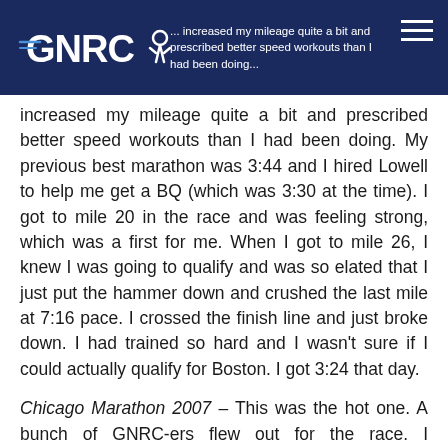GNRC [logo] ... increased my mileage quite a bit and prescribed better speed workouts than I had been doing...
increased my mileage quite a bit and prescribed better speed workouts than I had been doing. My previous best marathon was 3:44 and I hired Lowell to help me get a BQ (which was 3:30 at the time). I got to mile 20 in the race and was feeling strong, which was a first for me. When I got to mile 26, I knew I was going to qualify and was so elated that I just put the hammer down and crushed the last mile at 7:16 pace. I crossed the finish line and just broke down. I had trained so hard and I wasn't sure if I could actually qualify for Boston. I got 3:24 that day.
Chicago Marathon 2007 – This was the hot one. A bunch of GNRC-ers flew out for the race. I remember us eating pasta at some restaurant the night before and discussing strategy for the predicted heat. Temps were mid 80's with high humidity at the start and just got worse. I was walking by mile 16. At mile 23, the race